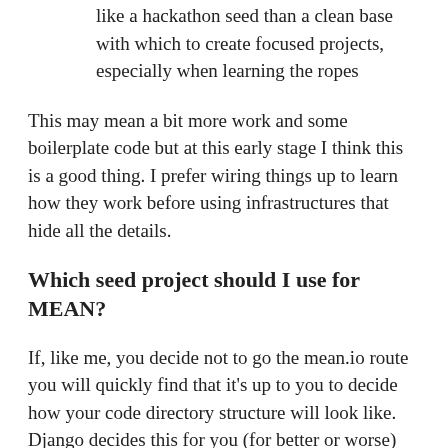like a hackathon seed than a clean base with which to create focused projects, especially when learning the ropes
This may mean a bit more work and some boilerplate code but at this early stage I think this is a good thing. I prefer wiring things up to learn how they work before using infrastructures that hide all the details.
Which seed project should I use for MEAN?
If, like me, you decide not to go the mean.io route you will quickly find that it's up to you to decide how your code directory structure will look like. Django decides this for you (for better or worse) but with MEAN you are left to decide which seed project directory structure your code will follow. You may be tempted to follow